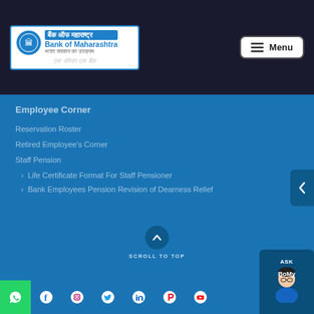Bank of Maharashtra — बैंक ऑफ महाराष्ट्र — Menu
Employee Corner
Reservation Roster
Retired Employee's Corner
Staff Pension
> Life Certificate Format For Staff Pensioner
> Bank Employees Pension Revision of Dearness Relief
SCROLL TO TOP — Social media icons: WhatsApp, Facebook, Instagram, Twitter, LinkedIn, Pinterest, YouTube — ASK BoMy